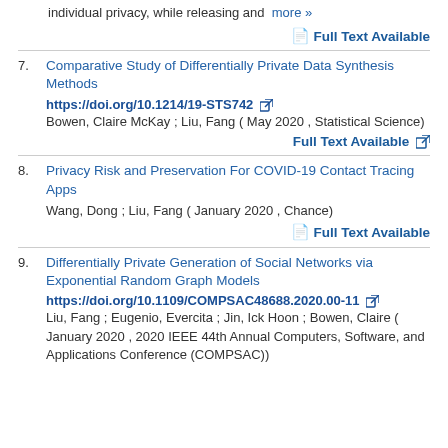individual privacy, while releasing and   more »
Full Text Available
7. Comparative Study of Differentially Private Data Synthesis Methods
https://doi.org/10.1214/19-STS742
Bowen, Claire McKay ; Liu, Fang ( May 2020 , Statistical Science)
Full Text Available
8. Privacy Risk and Preservation For COVID-19 Contact Tracing Apps
Wang, Dong ; Liu, Fang ( January 2020 , Chance)
Full Text Available
9. Differentially Private Generation of Social Networks via Exponential Random Graph Models
https://doi.org/10.1109/COMPSAC48688.2020.00-11
Liu, Fang ; Eugenio, Evercita ; Jin, Ick Hoon ; Bowen, Claire ( January 2020 , 2020 IEEE 44th Annual Computers, Software, and Applications Conference (COMPSAC))